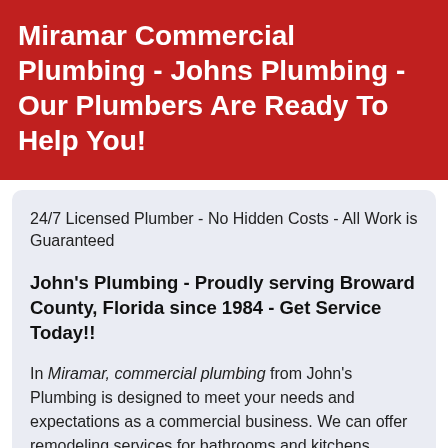Miramar Commercial Plumbing - Johns Plumbing - Our Plumbers Are Ready To Help You!
24/7 Licensed Plumber - No Hidden Costs - All Work is Guaranteed
John's Plumbing - Proudly serving Broward County, Florida since 1984 - Get Service Today!!
In Miramar, commercial plumbing from John's Plumbing is designed to meet your needs and expectations as a commercial business. We can offer remodeling services for bathrooms and kitchens through minor additions and new installations. Allow our trained, licensed, and certified team to provide you with dedicated planning and